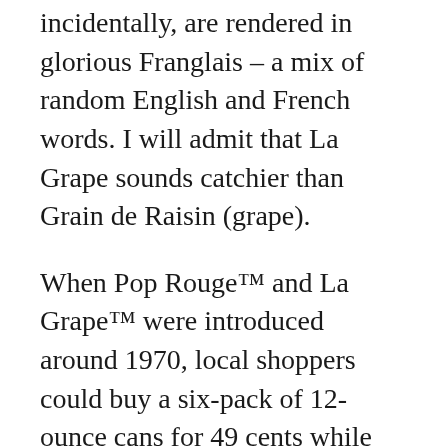incidentally, are rendered in glorious Franglais – a mix of random English and French words. I will admit that La Grape sounds catchier than Grain de Raisin (grape).
When Pop Rouge™ and La Grape™ were introduced around 1970, local shoppers could buy a six-pack of 12-ounce cans for 49 cents while extreme soda junkies could haul home a 24-can case for $1.79. If those prices sound outrageously cheap, bear in mind that the current equivalent is $3.08 per six-pack and $11.24 per case.
Both Pop Rouge™ and the associated...